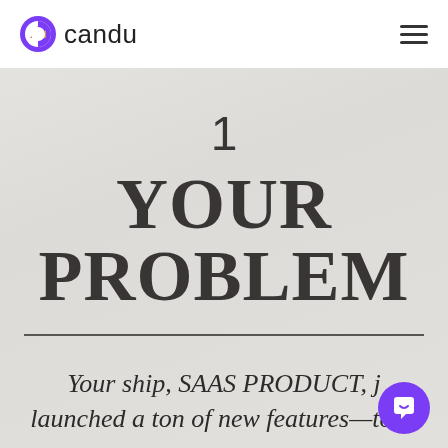candu
1
YOUR PROBLEM
Your ship, SAAS PRODUCT, just launched a ton of new features—to m